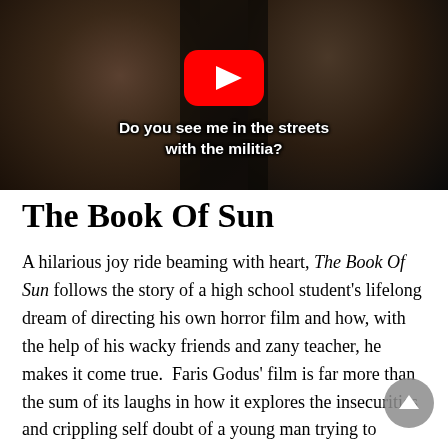[Figure (screenshot): YouTube video thumbnail showing two people in a dimly lit scene. White subtitle text reads 'Do you see me in the streets with the militia?' Red YouTube play button is visible in the center.]
The Book Of Sun
A hilarious joy ride beaming with heart, The Book Of Sun follows the story of a high school student's lifelong dream of directing his own horror film and how, with the help of his wacky friends and zany teacher, he makes it come true.  Faris Godus' film is far more than the sum of its laughs in how it explores the insecurities and crippling self doubt of a young man trying to navigate his way through high school whilst attempting to pursue his dreams.